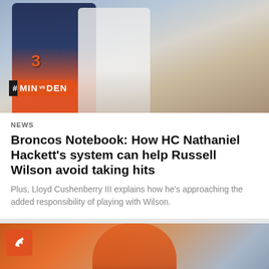[Figure (photo): Football players at practice, one in Denver Broncos navy/orange jersey with number 3, another in white t-shirt; overlay tag reads #MIN vs DEN]
NEWS
Broncos Notebook: How HC Nathaniel Hackett's system can help Russell Wilson avoid taking hits
Plus, Lloyd Cushenberry III explains how he's approaching the added responsibility of playing with Wilson.
[Figure (photo): Close-up of person in Denver Broncos orange helmet/gear; Broncos logo badge visible top-left]
Social share icons: Facebook, Twitter, Email, Link